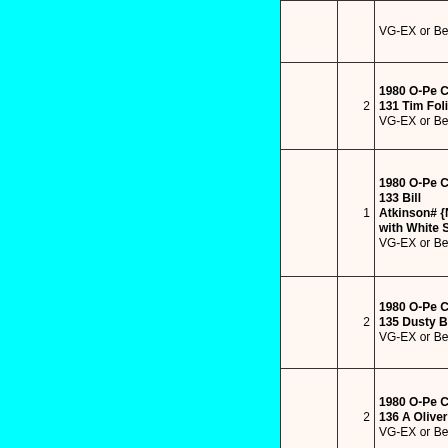| Image | Qty | Description |
| --- | --- | --- |
|  |  | VG-EX or Better |
|  | 2 | 1980 O-Pe Chee 131 Tim Foli D VG-EX or Better |
|  | 1 | 1980 O-Pe Chee 133 Bill Atkinson# {Now with White Sox} VG-EX or Better |
|  | 2 | 1980 O-Pe Chee 135 Dusty Bak VG-EX or Better |
|  | 2 | 1980 O-Pe Chee 136 A Oliver VG-EX or Better |
|  |  | 1980 O-Pe Chee 137... |